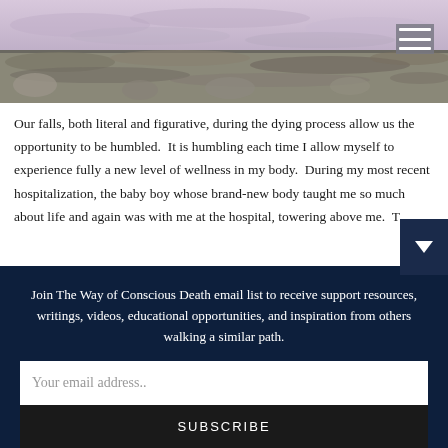[Figure (photo): Header image showing layered rocks/stones with a pinkish-purple hue at the top transitioning to grey-brown stone textures below]
Our falls, both literal and figurative, during the dying process allow us the opportunity to be humbled. It is humbling each time I allow myself to experience fully a new level of wellness in my body. During my most recent hospitalization, the baby boy whose brand-new body taught me so much about life and again was with me at the hospital, towering above me. T
Join The Way of Conscious Death email list to receive support resources, writings, videos, educational opportunities, and inspiration from others walking a similar path.
Your email address..
SUBSCRIBE